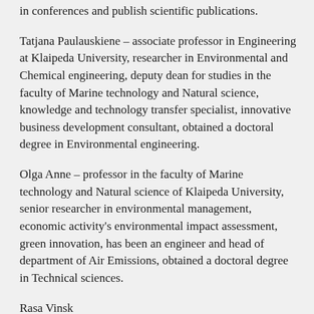in conferences and publish scientific publications.
Tatjana Paulauskiene – associate professor in Engineering at Klaipeda University, researcher in Environmental and Chemical engineering, deputy dean for studies in the faculty of Marine technology and Natural science, knowledge and technology transfer specialist, innovative business development consultant, obtained a doctoral degree in Environmental engineering.
Olga Anne – professor in the faculty of Marine technology and Natural science of Klaipeda University, senior researcher in environmental management, economic activity's environmental impact assessment, green innovation, has been an engineer and head of department of Air Emissions, obtained a doctoral degree in Technical sciences.
Rasa Vinsk... – senior specialist in the Business...